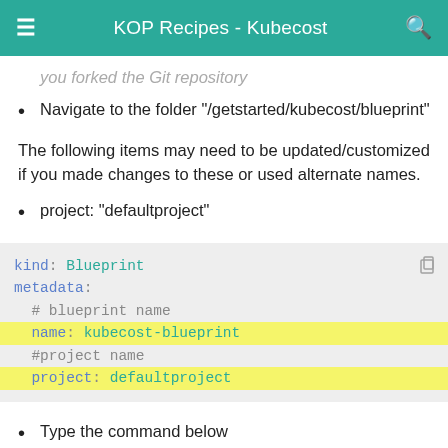KOP Recipes - Kubecost
you forked the Git repository
Navigate to the folder "/getstarted/kubecost/blueprint"
The following items may need to be updated/customized if you made changes to these or used alternate names.
project: "defaultproject"
[Figure (screenshot): Code block showing YAML snippet: kind: Blueprint, metadata:, # blueprint name, name: kubecost-blueprint (highlighted), #project name, project: defaultproject (highlighted), with a copy icon in the top right]
Type the command below